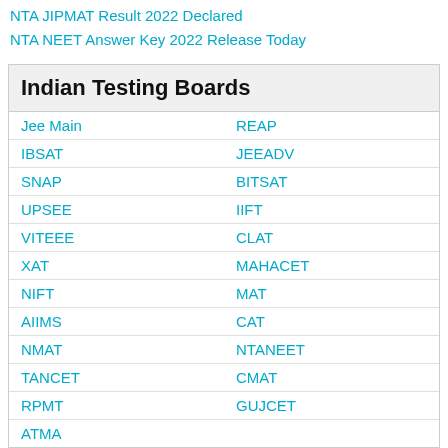NTA JIPMAT Result 2022 Declared
NTA NEET Answer Key 2022 Release Today
Indian Testing Boards
| Jee Main | REAP |
| IBSAT | JEEADV |
| SNAP | BITSAT |
| UPSEE | IIFT |
| VITEEE | CLAT |
| XAT | MAHACET |
| NIFT | MAT |
| AIIMS | CAT |
| NMAT | NTANEET |
| TANCET | CMAT |
| RPMT | GUJCET |
| ATMA |  |
Board Result
UP Board Result 2022
CISCE Result 2022
NIOS Result 2022
AP Board Result 2022